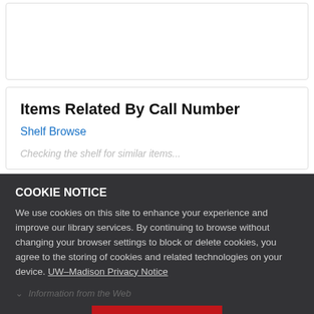Items Related By Call Number
Shelf Browse
Checking the shelf for similar items...
COOKIE NOTICE
We use cookies on this site to enhance your experience and improve our library services. By continuing to browse without changing your browser settings to block or delete cookies, you agree to the storing of cookies and related technologies on your device. UW–Madison Privacy Notice
Information from the Web
GOT IT!
Library Staff Details